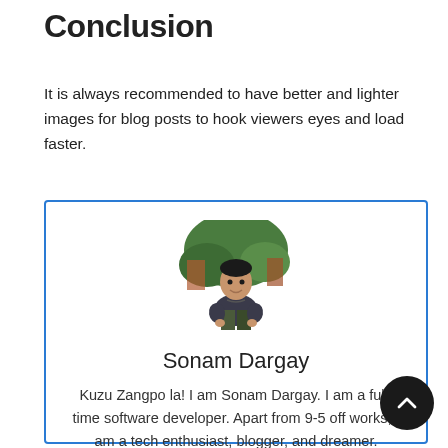Conclusion
It is always recommended to have better and lighter images for blog posts to hook viewers eyes and load faster.
[Figure (photo): Author bio card with photo of Sonam Dargay, a person sitting outdoors in front of trees and a building. Card has a blue border.]
Sonam Dargay
Kuzu Zangpo la! I am Sonam Dargay. I am a full-time software developer. Apart from 9-5 off works, I am a tech enthusiast, blogger, and dreamer.